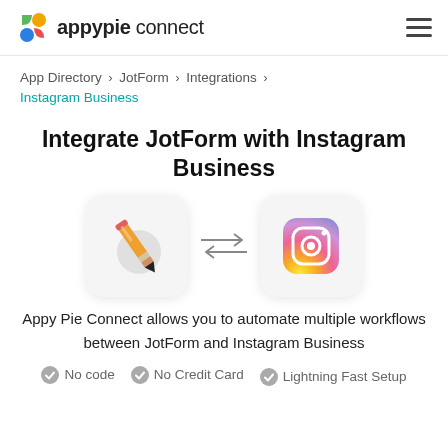appypie connect
App Directory > JotForm > Integrations > Instagram Business
Integrate JotForm with Instagram Business
[Figure (illustration): JotForm pencil icon and Instagram Business icon with bidirectional arrows between them]
Appy Pie Connect allows you to automate multiple workflows between JotForm and Instagram Business
No code   No Credit Card   Lightning Fast Setup